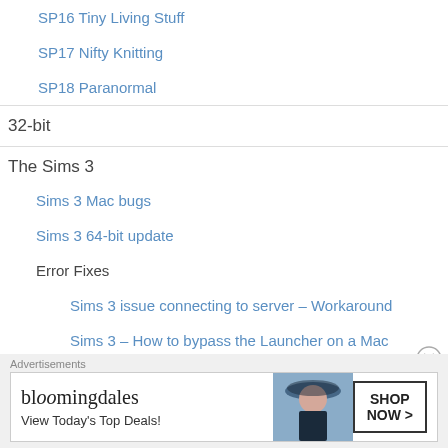SP16 Tiny Living Stuff
SP17 Nifty Knitting
SP18 Paranormal
32-bit
The Sims 3
Sims 3 Mac bugs
Sims 3 64-bit update
Error Fixes
Sims 3 issue connecting to server – Workaround
Sims 3 – How to bypass the Launcher on a Mac
Sims 3 Packs not showing as installed – workaround
Advertisements
[Figure (screenshot): Bloomingdale's banner ad: 'View Today's Top Deals!' with SHOP NOW > button and model photo]